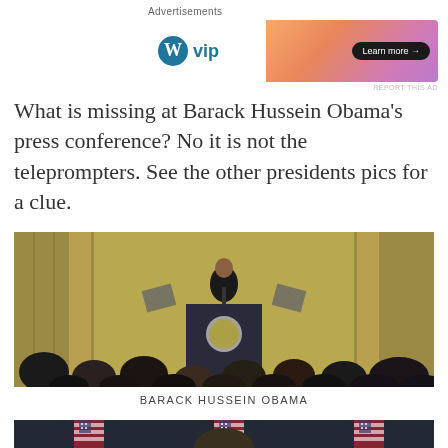Advertisements
[Figure (other): WordPress VIP advertisement banner with orange/pink gradient and Learn more button]
What is missing at Barack Hussein Obama's press conference? No it is not the teleprompters. See the other presidents pics for a clue.
[Figure (photo): Barack Obama speaking at a podium with the presidential seal in a formal room with gold curtains, audience visible in foreground]
BARACK HUSSEIN OBAMA
[Figure (photo): Partial view of another press conference with American flags visible in background]